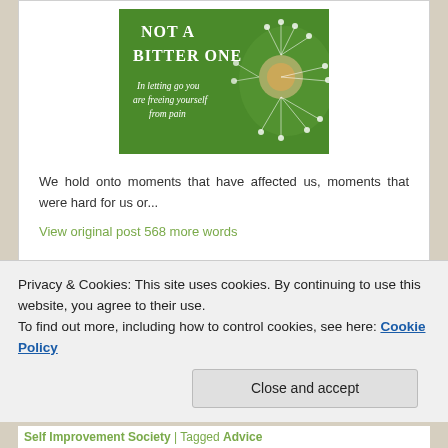[Figure (illustration): Green background image with white bold text 'NOT A BITTER ONE' and italic text 'In letting go you are freeing yourself from pain', with a dandelion flower on the right side]
We hold onto moments that have affected us, moments that were hard for us or...
View original post 568 more words
SHARE THIS:
Privacy & Cookies: This site uses cookies. By continuing to use this website, you agree to their use.
To find out more, including how to control cookies, see here: Cookie Policy
Close and accept
Self Improvement Society | Tagged Advice